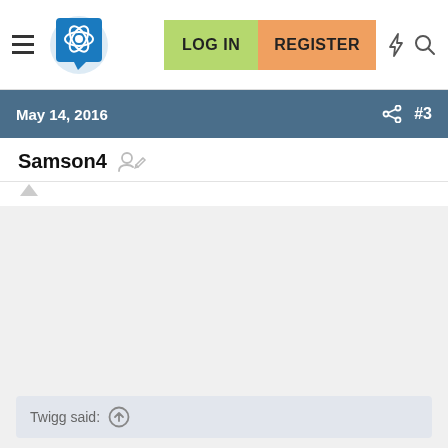LOG IN   REGISTER
May 14, 2016   #3
Samson4
Twigg said: